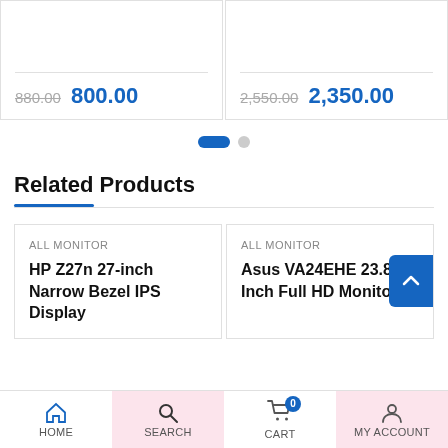880.00  800.00
2,550.00  2,350.00
Related Products
ALL MONITOR
HP Z27n 27-inch Narrow Bezel IPS Display
ALL MONITOR
Asus VA24EHE 23.8 Inch Full HD Monitor
HOME  SEARCH  CART  MY ACCOUNT